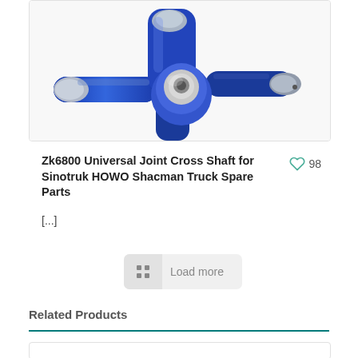[Figure (photo): A blue and silver cross-shaped universal joint shaft tool (Zk6800) with four arms, metallic finish, on white background.]
Zk6800 Universal Joint Cross Shaft for Sinotruk HOWO Shacman Truck Spare Parts
[...]
Load more
Related Products